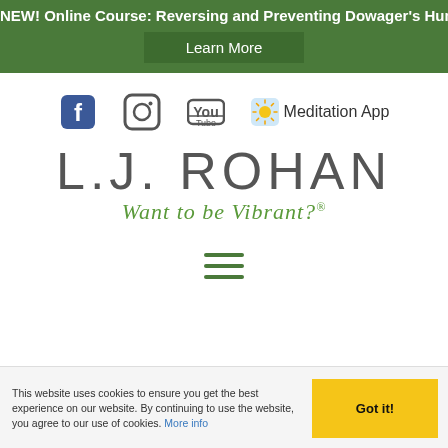NEW! Online Course: Reversing and Preventing Dowager's Hump
Learn More
[Figure (logo): Social media icons: Facebook, Instagram, YouTube, and a sun emoji with Meditation App label]
[Figure (logo): L.J. ROHAN logo with tagline 'Want to be Vibrant?']
[Figure (other): Hamburger menu icon (three horizontal green lines)]
This website uses cookies to ensure you get the best experience on our website. By continuing to use the website, you agree to our use of cookies. More info
Got it!